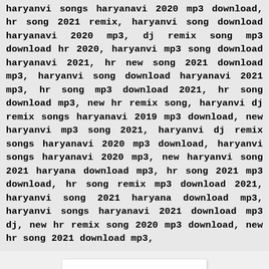haryanvi songs haryanavi 2020 mp3 download, hr song 2021 remix, haryanvi song download haryanavi 2020 mp3, dj remix song mp3 download hr 2020, haryanvi mp3 song download haryanavi 2021, hr new song 2021 download mp3, haryanvi song download haryanavi 2021 mp3, hr song mp3 download 2021, hr song download mp3, new hr remix song, haryanvi dj remix songs haryanavi 2019 mp3 download, new haryanvi mp3 song 2021, haryanvi dj remix songs haryanavi 2020 mp3 download, haryanvi songs haryanavi 2020 mp3, new haryanvi song 2021 haryana download mp3, hr song 2021 mp3 download, hr song remix mp3 download 2021, haryanvi song 2021 haryana download mp3, haryanvi songs haryanavi 2021 download mp3 dj, new hr remix song 2020 mp3 download, new hr song 2021 download mp3,
[Figure (other): White card/image placeholder on a light grey background]